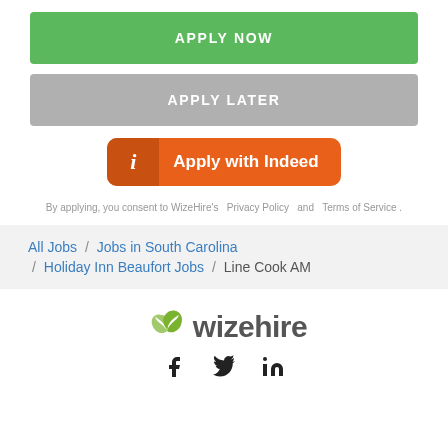[Figure (other): Green APPLY NOW button]
[Figure (other): Gray APPLY LATER button]
[Figure (other): Orange Apply with Indeed button]
By applying, you consent to WizeHire's  Privacy Policy  and  Terms of Service .
All Jobs  /  Jobs in South Carolina  /  Holiday Inn Beaufort Jobs  /  Line Cook AM
[Figure (logo): WizeHire logo with green leaf icon and gray lowercase text 'wizehire', followed by Facebook, Twitter, and LinkedIn social icons]